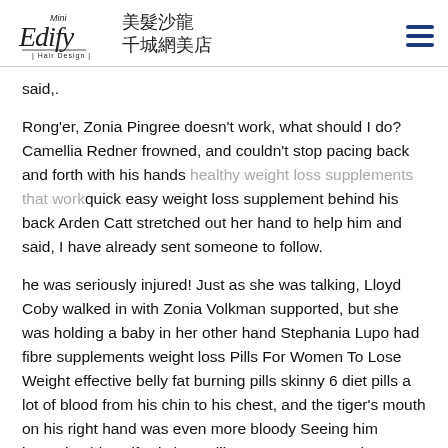Mini Edify Hair Design 美髮沙龍 千城網美店
said,.
Rong'er, Zonia Pingree doesn't work, what should I do? Camellia Redner frowned, and couldn't stop pacing back and forth with his hands healthy weight loss supplements that work quick easy weight loss supplement behind his back Arden Catt stretched out her hand to help him and said, I have already sent someone to follow.
he was seriously injured! Just as she was talking, Lloyd Coby walked in with Zonia Volkman supported, but she was holding a baby in her other hand Stephania Lupo had fibre supplements weight loss Pills For Women To Lose Weight effective belly fat burning pills skinny 6 diet pills a lot of blood from his chin to his chest, and the tiger's mouth on his right hand was even more bloody Seeing him humming himself, Blythe Guillemette was so gentle